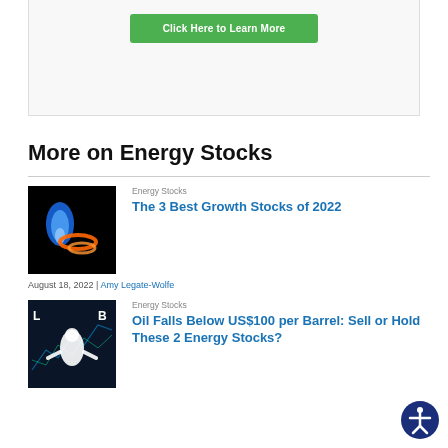[Figure (other): Green 'Click Here to Learn More' button inside a light grey bordered card]
More on Energy Stocks
[Figure (photo): Photo of a gas flame with orange rings on a black background]
Energy Stocks
The 3 Best Growth Stocks of 2022
August 18, 2022 | Amy Legate-Wolfe
[Figure (photo): Photo of a man in white shirt looking at financial charts with L and B labels on dark background]
Energy Stocks
Oil Falls Below US$100 per Barrel: Sell or Hold These 2 Energy Stocks?